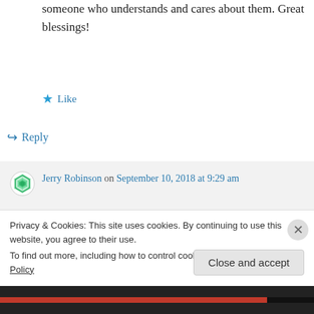someone who understands and cares about them. Great blessings!
Like
Reply
Jerry Robinson on September 10, 2018 at 9:29 am
Dear Ann, thank you for your blessing! You are so right about the importance of
Privacy & Cookies: This site uses cookies. By continuing to use this website, you agree to their use.
To find out more, including how to control cookies, see here: Cookie Policy
Close and accept